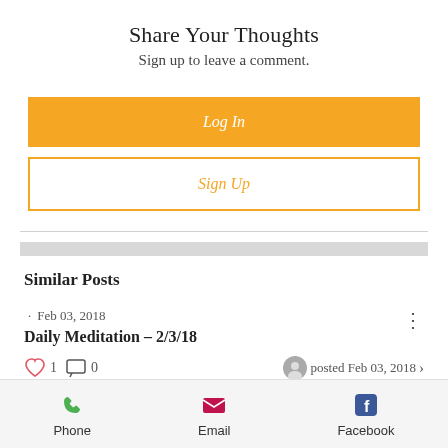Share Your Thoughts
Sign up to leave a comment.
Log In
Sign Up
Similar Posts
· Feb 03, 2018
Daily Meditation – 2/3/18
♡ 1   ☐ 0   posted Feb 03, 2018 ›
Phone
Email
Facebook